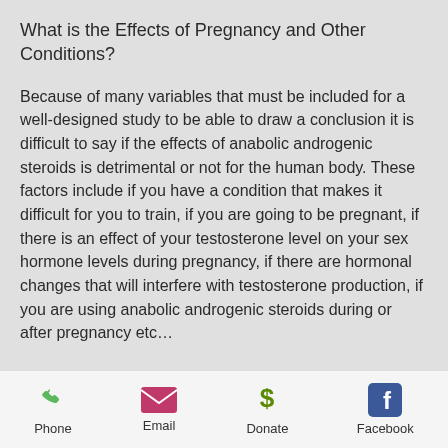What is the Effects of Pregnancy and Other Conditions?
Because of many variables that must be included for a well-designed study to be able to draw a conclusion it is difficult to say if the effects of anabolic androgenic steroids is detrimental or not for the human body. These factors include if you have a condition that makes it difficult for you to train, if you are going to be pregnant, if there is an effect of your testosterone level on your sex hormone levels during pregnancy, if there are hormonal changes that will interfere with testosterone production, if you are using anabolic androgenic steroids during or after pregnancy etc…
Phone   Email   Donate   Facebook